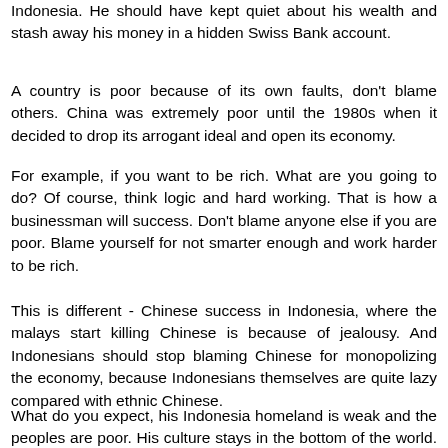Indonesia. He should have kept quiet about his wealth and stash away his money in a hidden Swiss Bank account.
A country is poor because of its own faults, don't blame others. China was extremely poor until the 1980s when it decided to drop its arrogant ideal and open its economy.
For example, if you want to be rich. What are you going to do? Of course, think logic and hard working. That is how a businessman will success. Don't blame anyone else if you are poor. Blame yourself for not smarter enough and work harder to be rich.
This is different - Chinese success in Indonesia, where the malays start killing Chinese is because of jealousy. And Indonesians should stop blaming Chinese for monopolizing the economy, because Indonesians themselves are quite lazy compared with ethnic Chinese.
What do you expect, his Indonesia homeland is weak and the peoples are poor. His culture stays in the bottom of the world. Maybe he should look into himself before commenting